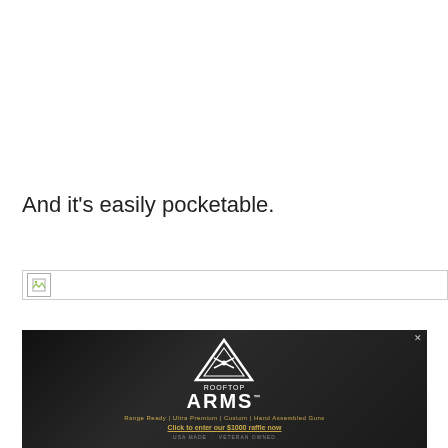And it's easily pocketable.
[Figure (illustration): Broken image placeholder with small icon and border, representing a failed image load]
[Figure (photo): Rooftop Arms advertisement banner with dark background, triangle/mountain logo, brand name ROOFTOP ARMS, tagline Range Ready | Ultra Premium | Custom | Hand Assembled Guns, CTA Click to enter our $1000 raffle now, footer USA MADE · VETERAN OWNED]